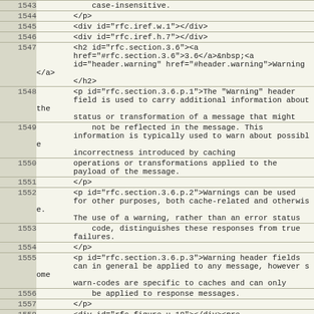| Line | Code |
| --- | --- |
| 1543 | case-insensitive. |
| 1544 |         </p> |
| 1545 |         <div id="rfc.iref.w.1"></div> |
| 1546 |         <div id="rfc.iref.h.7"></div> |
| 1547 |         <h2 id="rfc.section.3.6"><a
        href="#rfc.section.3.6">3.6</a>&nbsp;<a
        id="header.warning" href="#header.warning">Warning</a>
        </h2> |
| 1548 |         <p id="rfc.section.3.6.p.1">The "Warning" header
        field is used to carry additional information about the
        status or transformation of a message that might |
| 1549 |             not be reflected in the message. This
        information is typically used to warn about possible
        incorrectness introduced by caching |
| 1550 |         operations or transformations applied to the
        payload of the message. |
| 1551 |         </p> |
| 1552 |         <p id="rfc.section.3.6.p.2">Warnings can be used
        for other purposes, both cache-related and otherwise.
        The use of a warning, rather than an error status |
| 1553 |             code, distinguishes these responses from true
        failures. |
| 1554 |         </p> |
| 1555 |         <p id="rfc.section.3.6.p.3">Warning header fields
        can in general be applied to any message, however some
        warn-codes are specific to caches and can only |
| 1556 |             be applied to response messages. |
| 1557 |         </p> |
| 1558 |         <div id="rfc.figure.u.18"></div><pre
        class="inline"><span id="rfc.iref.g.12"></span><span
        id="rfc.iref.g.13"></span><span id="rfc.iref.g.14">
        </span><span id="rfc.iref.g.15"></span><span
        id="rfc.iref.g.16"></span><span id="rfc.iref.g.17">
        </span>  <a href="#header.warning"
        class="smpl">Warning</a>        = 1#<a |